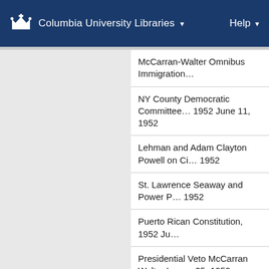Columbia University Libraries  ▾   Help ▾
McCarran-Walter Omnibus Immigration…
NY County Democratic Committee… 1952 June 11, 1952
Lehman and Adam Clayton Powell on Ci… 1952
St. Lawrence Seaway and Power P… 1952
Puerto Rican Constitution, 1952 Ju…
Presidential Veto McCarran Walter Imm… 25, 1952